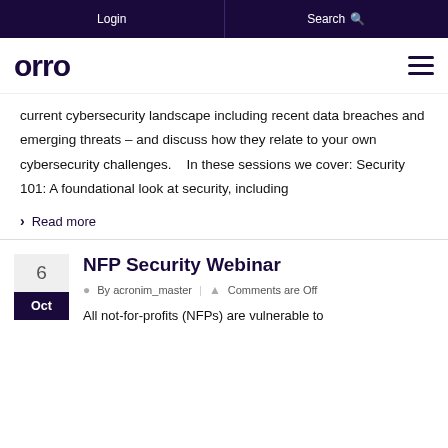Login | Search
[Figure (logo): orro logo in dark purple/black on white background]
current cybersecurity landscape including recent data breaches and emerging threats – and discuss how they relate to your own cybersecurity challenges.    In these sessions we cover: Security 101: A foundational look at security, including
Read more
NFP Security Webinar
By acronim_master | Comments are Off
All not-for-profits (NFPs) are vulnerable to